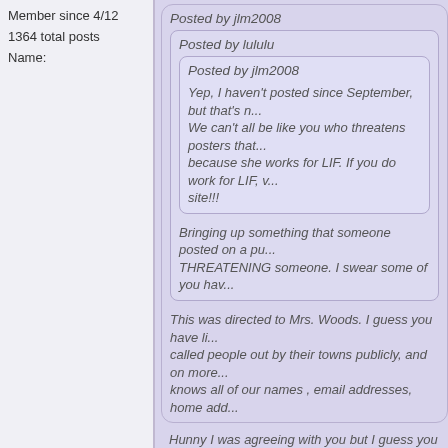Member since 4/12
1364 total posts
Name:
Posted by jlm2008
Posted by lululu
Posted by jlm2008
Yep, I haven't posted since September, but that's n... We can't all be like you who threatens posters that... because she works for LIF. If you do work for LIF, v... site!!!
Bringing up something that someone posted on a pu... THREATENING someone. I swear some of you hav...
This was directed to Mrs. Woods. I guess you have li... called people out by their towns publicly, and on more... knows all of our names , email addresses, home add...
Hunny I was agreeing with you but I guess you can't r...